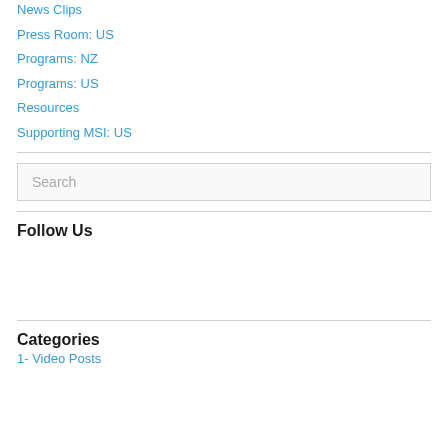News Clips
Press Room: US
Programs: NZ
Programs: US
Resources
Supporting MSI: US
Search
Follow Us
Categories
1- Video Posts